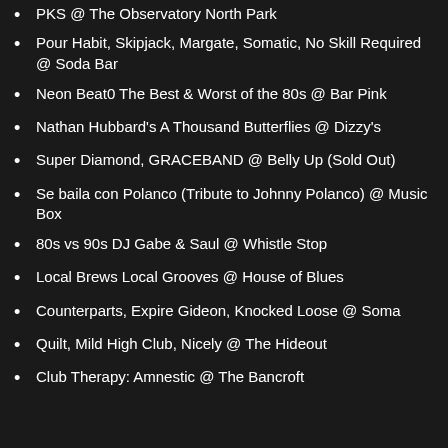PKS @ The Observatory North Park
Pour Habit, Skipjack, Margate, Somatic, No Skill Required @ Soda Bar
Neon Beat0 The Best & Worst of the 80s @ Bar Pink
Nathan Hubbard's A Thousand Butterflies @ Dizzy's
Super Diamond, GRACEBAND @ Belly Up (Sold Out)
Se baila con Polanco (Tribute to Johnny Polanco) @ Music Box
80s vs 90s DJ Gabe & Saul @ Whistle Stop
Local Brews Local Grooves @ House of Blues
Counterparts, Expire Gideon, Knocked Loose @ Soma
Quilt, Mild High Club, Nicely @ The Hideout
Club Therapy: Amnestic @ The Bancroft